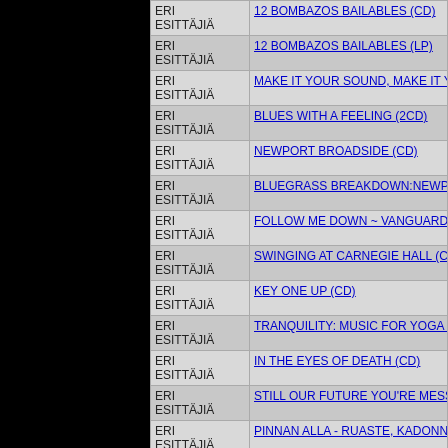| Artist | Title |
| --- | --- |
| ERI ESITTÄJIÄ | 12 BOMBAZOS BAILABLES (CD) |
| ERI ESITTÄJIÄ | 12 BOMBAZOS BAILABLES (LP) |
| ERI ESITTÄJIÄ | MAKE IT YOUR SOUND, MAKE IT YO... |
| ERI ESITTÄJIÄ | BLUES WITH A FEELING (2CD) |
| ERI ESITTÄJIÄ | NEWPORT BROADSIDE (CD) |
| ERI ESITTÄJIÄ | BLUEGRASS BREAKDOWN:NEWPO... |
| ERI ESITTÄJIÄ | FOLLOW ME DOWN ~ VANGUARD'S... |
| ERI ESITTÄJIÄ | SWINGING AT CARNEGIE HALL (CD... |
| ERI ESITTÄJIÄ | KEY ONE UP (CD) |
| ERI ESITTÄJIÄ | TRANQUILITY: MUSIC FOR YOGA &... |
| ERI ESITTÄJIÄ | IN THE EYES OF DEATH (CD) |
| ERI ESITTÄJIÄ | STILL OUR FUTURE YOU'RE MESSI... |
| ERI ESITTÄJIÄ | PINNAN ALLA - RUASTE, KADONNE... |
| ERI ESITTÄJIÄ | VANGUARD NEWPORT FESTIVAL SA... |
| ERI ESITTÄJIÄ | VANGUARD DANCE CLASSICS PART... |
| ERI ESITTÄJIÄ | FOLK DUETS (CD) |
| ERI ESITTÄJIÄ | REGGAE MUSIC 1969-1975 (CD) |
| ERI ESITTÄJIÄ | TREASURE ISLE - BOND ST (CD) |